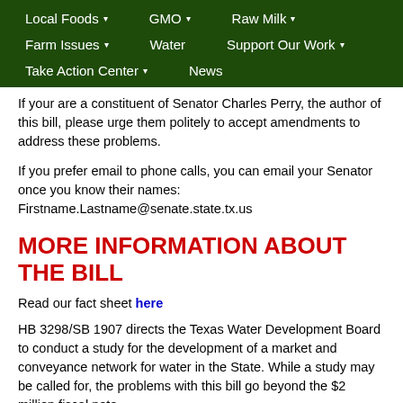Local Foods ▾   GMO ▾   Raw Milk ▾   Farm Issues ▾   Water   Support Our Work ▾   Take Action Center ▾   News
If your are a constituent of Senator Charles Perry, the author of this bill,  please urge them politely to accept amendments to address these problems.
If you prefer email to phone calls, you can email your Senator once you know their names: Firstname.Lastname@senate.state.tx.us
MORE INFORMATION ABOUT THE BILL
Read our fact sheet here
HB 3298/SB 1907 directs the Texas Water Development Board to conduct a study for the development of a market and conveyance network for water in the State.  While a study may be called for, the problems with this bill go beyond the $2 million fiscal note.